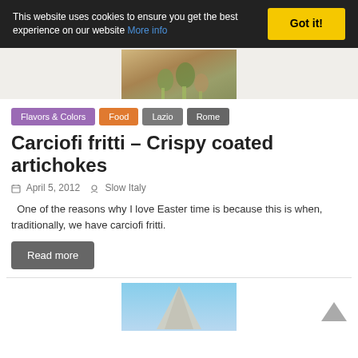This website uses cookies to ensure you get the best experience on our website More info Got it!
[Figure (photo): Photo of artichokes on a wooden cutting board]
Flavors & Colors
Food
Lazio
Rome
Carciofi fritti – Crispy coated artichokes
April 5, 2012   Slow Italy
One of the reasons why I love Easter time is because this is when, traditionally, we have carciofi fritti.
Read more
[Figure (photo): Photo of a building or monument against blue sky, partially visible at bottom of page]